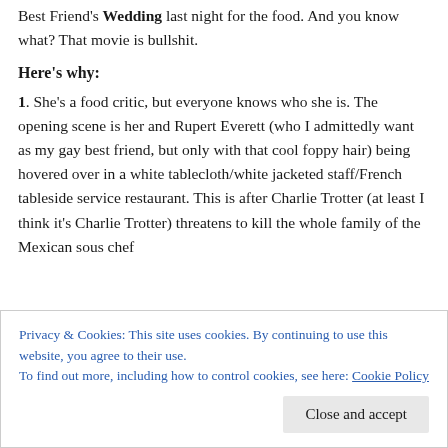Best Friend's Wedding last night for the food.  And you know what?  That movie is bullshit.
Here's why:
1. She's a food critic, but everyone knows who she is.  The opening scene is her and Rupert Everett (who I admittedly want as my gay best friend, but only with that cool foppy hair) being hovered over in a white tablecloth/white jacketed staff/French tableside service restaurant.  This is after Charlie Trotter (at least I think it's Charlie Trotter) threatens to kill the whole family of the Mexican sous chef
Privacy & Cookies: This site uses cookies. By continuing to use this website, you agree to their use.
To find out more, including how to control cookies, see here: Cookie Policy
Close and accept